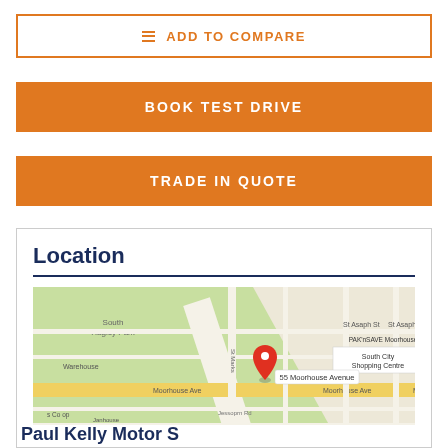ADD TO COMPARE
BOOK TEST DRIVE
TRADE IN QUOTE
Location
[Figure (map): Google Maps view centered on 55 Moorhouse Avenue, Christchurch, showing South Hagley Park, Moorhouse Ave, South City Shopping Centre, PAK'nSAVE Moorhouse, with a red location pin marker at 55 Moorhouse Avenue]
Paul Kelly Motor S...